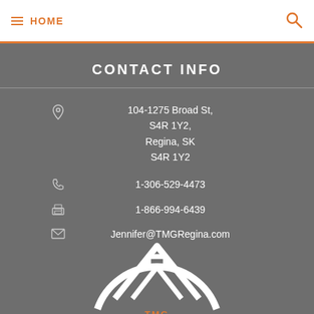HOME
CONTACT INFO
104-1275 Broad St, S4R 1Y2, Regina, SK S4R 1Y2
1-306-529-4473
1-866-994-6439
Jennifer@TMGRegina.com
[Figure (logo): TMG logo — circular emblem with house/mountain outline in white on grey background with orange text at bottom]